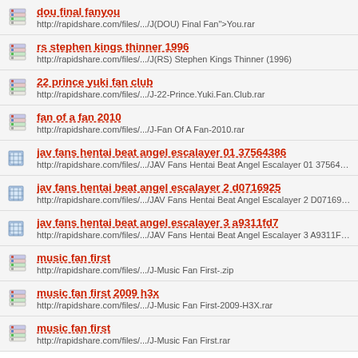dou final fanyou
http://rapidshare.com/files/.../J(DOU) Final Fan">You.rar
rs stephen kings thinner 1996
http://rapidshare.com/files/.../J(RS) Stephen Kings Thinner (1996)
22 prince yuki fan club
http://rapidshare.com/files/.../J-22-Prince.Yuki.Fan.Club.rar
fan of a fan 2010
http://rapidshare.com/files/.../J-Fan Of A Fan-2010.rar
jav fans hentai beat angel escalayer 01 37564386
http://rapidshare.com/files/.../JAV Fans Hentai Beat Angel Escalayer 01 37564386 mk
jav fans hentai beat angel escalayer 2 d0716925
http://rapidshare.com/files/.../JAV Fans Hentai Beat Angel Escalayer 2 D0716925 mk
jav fans hentai beat angel escalayer 3 a9311fd7
http://rapidshare.com/files/.../JAV Fans Hentai Beat Angel Escalayer 3 A9311FD7 mk
music fan first
http://rapidshare.com/files/.../J-Music Fan First-.zip
music fan first 2009 h3x
http://rapidshare.com/files/.../J-Music Fan First-2009-H3X.rar
music fan first
http://rapidshare.com/files/.../J-Music Fan First.rar